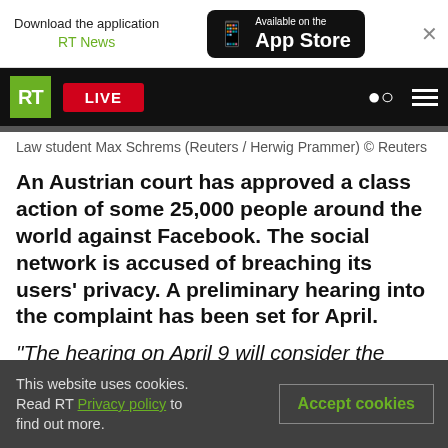[Figure (screenshot): App store download banner showing 'Download the application RT News' and 'Available on the App Store' button with phone icon, plus close X button]
[Figure (screenshot): RT news website navigation bar with green RT logo, red LIVE button, search icon, and hamburger menu on black background]
Law student Max Schrems (Reuters / Herwig Prammer) © Reuters
An Austrian court has approved a class action of some 25,000 people around the world against Facebook. The social network is accused of breaching its users' privacy. A preliminary hearing into the complaint has been set for April.
"The hearing on April 9 will consider the admissibility of the lawsuit," Beatrix Engelmann of
This website uses cookies. Read RT Privacy policy to find out more.